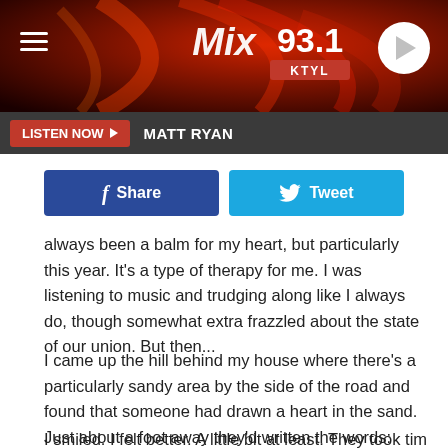[Figure (screenshot): Mix 93.1 KTYL radio station header with red swirling background, hamburger menu icon on left, Mix 93.1 KTYL logo in center, play button circle on right]
LISTEN NOW ▶  MATT RYAN
[Figure (screenshot): Social sharing buttons: Facebook Share button (dark blue) and Tweet button (light blue)]
always been a balm for my heart, but particularly this year. It's a type of therapy for me. I was listening to music and trudging along like I always do, though somewhat extra frazzled about the state of our union. But then...
I came up the hill behind my house where there's a particularly sandy area by the side of the road and found that someone had drawn a heart in the sand. Just about a foot away they'd written the words: "You are loved. We're gonna be okay."
I smiled. I felt better. A little bit at least. They took time out